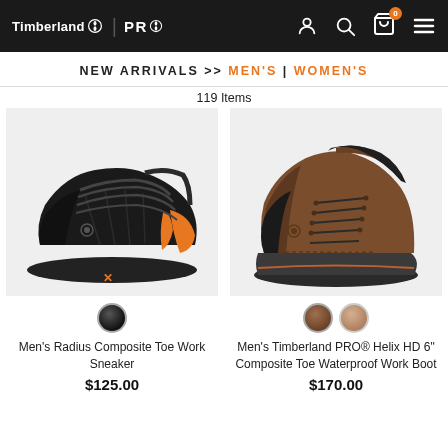Timberland PRO — Header with navigation icons
NEW ARRIVALS >> MEN'S | WOMEN'S
119 Items
[Figure (photo): Men's black and orange athletic work sneaker with composite toe — Radius Composite Toe Work Sneaker]
[Figure (photo): Men's brown leather lace-up composite toe waterproof work boot — Timberland PRO Helix HD 6" Composite Toe Waterproof Work Boot]
Men's Radius Composite Toe Work Sneaker
Men's Timberland PRO® Helix HD 6" Composite Toe Waterproof Work Boot
$125.00
$170.00